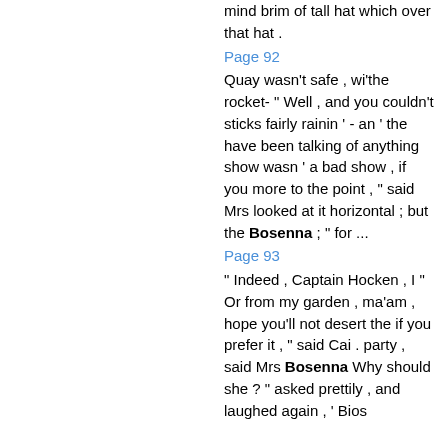mind brim of tall hat which over that hat .
Page 92
Quay wasn't safe , wi'the rocket- " Well , and you couldn't sticks fairly rainin ' - an ' the have been talking of anything show wasn ' a bad show , if you more to the point , " said Mrs looked at it horizontal ; but the Bosenna ; " for ...
Page 93
" Indeed , Captain Hocken , I " Or from my garden , ma'am , hope you'll not desert the if you prefer it , " said Cai . party , said Mrs Bosenna Why should she ? " asked prettily , and laughed again , ' Bios